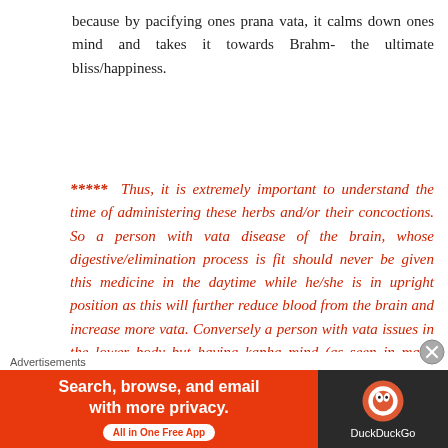because by pacifying ones prana vata, it calms down ones mind and takes it towards Brahm- the ultimate bliss/happiness.
***** Thus, it is extremely important to understand the time of administering these herbs and/or their concoctions. So a person with vata disease of the brain, whose digestive/elimination process is fit should never be given this medicine in the daytime while he/she is in upright position as this will further reduce blood from the brain and increase more vata. Conversely a person with vata issues in the lower body but having kapha mind (as seen in many people having
Advertisements
[Figure (other): DuckDuckGo advertisement banner: 'Search, browse, and email with more privacy. All in One Free App' with DuckDuckGo logo on dark background]